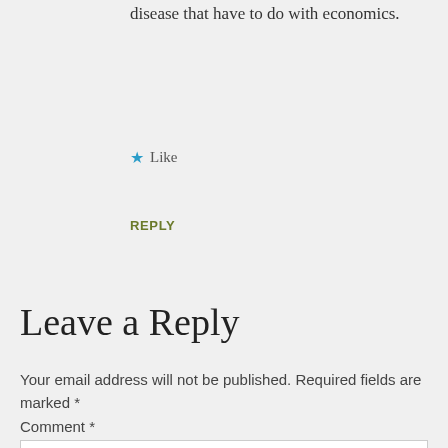disease that have to do with economics.
★ Like
REPLY
Leave a Reply
Your email address will not be published. Required fields are marked *
Comment *